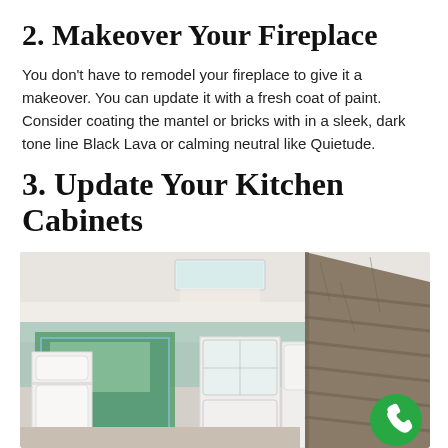2. Makeover Your Fireplace
You don't have to remodel your fireplace to give it a makeover. You can update it with a fresh coat of paint. Consider coating the mantel or bricks with in a sleek, dark tone line Black Lava or calming neutral like Quietude.
3. Update Your Kitchen Cabinets
[Figure (photo): Interior kitchen photo showing white cabinets, light teal/mint walls, glass-paned cabinet doors, large windows with a view of trees, and a rustic wood range hood on the right side. A green phone button is overlaid in the bottom right corner.]